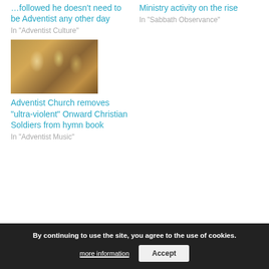...followed he doesn't need to be Adventist any other day
In "Adventist Culture"
Ministry activity on the rise
In "Sabbath Observance"
[Figure (photo): Painting of Crusaders in battle, medieval warriors with swords and cross insignia]
Adventist Church removes "ultra-violent" Onward Christian Soldiers from hymn book
In "Adventist Music"
< Sharp rise in cost of haystack chips forces cancellation of old church potluck... free
Slide Show: Great Moments from Cradle Roll >
By continuing to use the site, you agree to the use of cookies.
more information
Accept